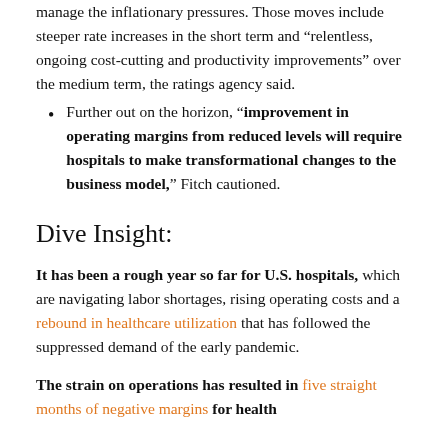manage the inflationary pressures. Those moves include steeper rate increases in the short term and “relentless, ongoing cost-cutting and productivity improvements” over the medium term, the ratings agency said.
Further out on the horizon, “improvement in operating margins from reduced levels will require hospitals to make transformational changes to the business model,” Fitch cautioned.
Dive Insight:
It has been a rough year so far for U.S. hospitals, which are navigating labor shortages, rising operating costs and a rebound in healthcare utilization that has followed the suppressed demand of the early pandemic.
The strain on operations has resulted in five straight months of negative margins for health